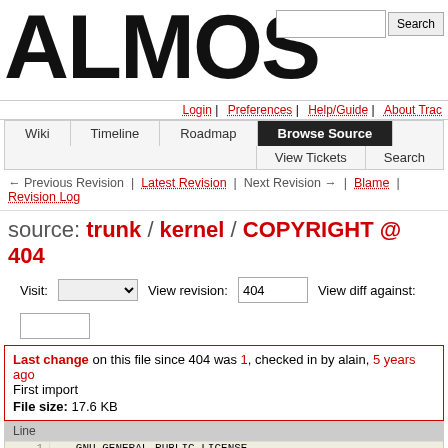[Figure (screenshot): Website logo showing 'ALMOS MKI' in large bold black text]
Search  Login | Preferences | Help/Guide | About Trac
Wiki | Timeline | Roadmap | Browse Source | View Tickets | Search
← Previous Revision | Latest Revision | Next Revision → | Blame | Revision Log
source: trunk / kernel / COPYRIGHT @ 404
Visit: [dropdown] View revision: 404 View diff against: [input]
Last change on this file since 404 was 1, checked in by alain, 5 years ago
First import
File size: 17.6 KB
| Line |  |
| --- | --- |
| 1 | GNU GENERAL PUBLIC LICENSE |
| 2 | Version 2, June 1991 |
| 3 |  |
| 4 | Copyright (C) 1989, 1991 Free Software Foundation, Inc. |
| 5 |       51 Franklin St, Fifth Floor, Boston, MA  02110-1301  USA |
| 6 |  Everyone is permitted to copy and distribute verbatim copies |
| 7 |  of this license document, but changing it is not allowed. |
| 8 |  |
| 9 |                        Preamble |
| 10 |  |
| 11 |  The licenses for most software are designed to take |